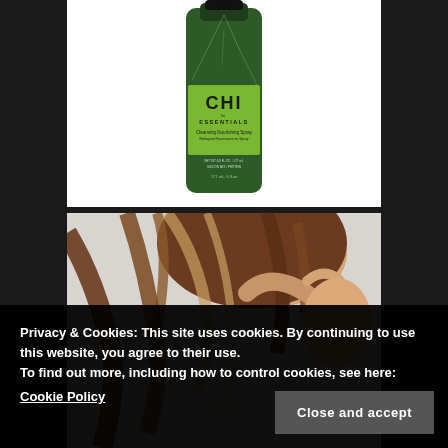[Figure (photo): CHI Essentials product bottle – dark green bottle with bright green label showing 'CHI ESSENTIALS' branding and product text, on white background]
[Figure (photo): Close-up photo of a woman with highlighted brown and blonde hair, hand running through hair, light grey background]
Privacy & Cookies: This site uses cookies. By continuing to use this website, you agree to their use.
To find out more, including how to control cookies, see here:
Cookie Policy
Close and accept